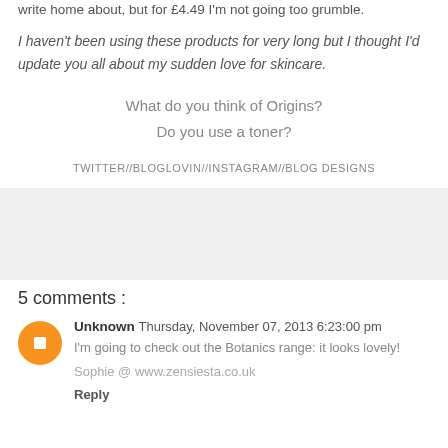write home about, but for £4.49 I'm not going too grumble.
I haven't been using these products for very long but I thought I'd update you all about my sudden love for skincare.
What do you think of Origins?
Do you use a toner?
TWITTER//BLOGLOVIN//INSTAGRAM//BLOG DESIGNS
[Figure (other): Gray advertisement box]
5 comments :
Unknown  Thursday, November 07, 2013 6:23:00 pm
I'm going to check out the Botanics range: it looks lovely!
Sophie @ www.zensiesta.co.uk
Reply